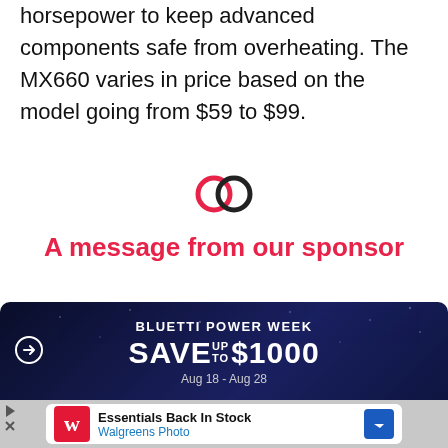horsepower to keep advanced components safe from overheating. The MX660 varies in price based on the model going from $59 to $99.
[Figure (illustration): Two overlapping circular chain link icons in a pink/red color, representing a sponsor separator or link symbol]
A message from our sponsor
[Figure (infographic): Bluetti Power Week advertisement banner on dark navy background. Text reads: BLUETTI POWER WEEK, SAVE UP TO $1000, Aug 18 - Aug 28]
[Figure (infographic): Walgreens Photo advertisement: Essentials Back In Stock, Walgreens Photo]